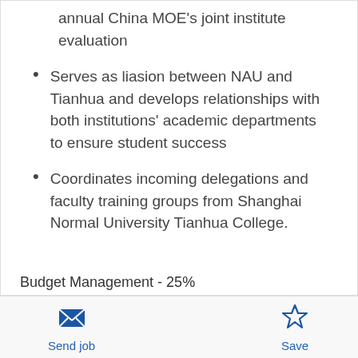annual China MOE's joint institute evaluation
Serves as liasion between NAU and Tianhua and develops relationships with both institutions' academic departments to ensure student success
Coordinates incoming delegations and faculty training groups from Shanghai Normal University Tianhua College.
Budget Management - 25%
Oversees invoicing and incoming payments from Tianhua, and disburses payments to consulting